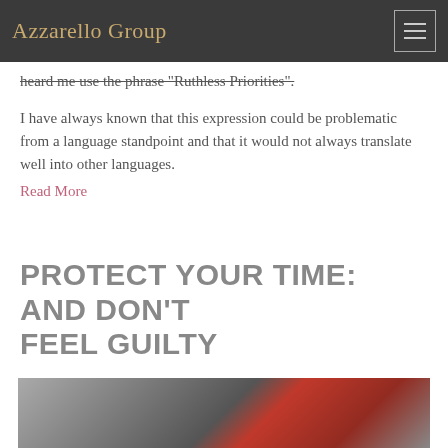Azzarello Group
heard me use the phrase "Ruthless Priorities".
I have always known that this expression could be problematic from a language standpoint and that it would not always translate well into other languages.
Read More
PROTECT YOUR TIME: AND DON'T FEEL GUILTY
[Figure (photo): Close-up photo of a velvet rope barrier with red rope and chrome stanchion post]